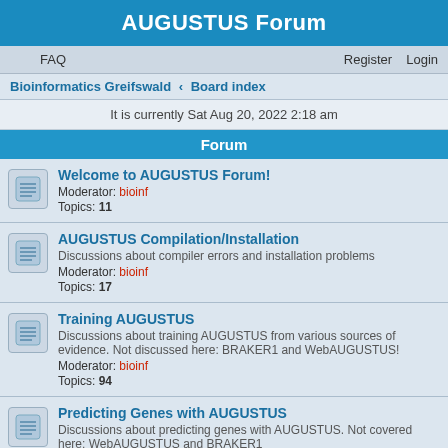AUGUSTUS Forum
FAQ   Register   Login
Bioinformatics Greifswald · Board index
It is currently Sat Aug 20, 2022 2:18 am
Forum
Welcome to AUGUSTUS Forum!
Moderator: bioinf
Topics: 11
AUGUSTUS Compilation/Installation
Discussions about compiler errors and installation problems
Moderator: bioinf
Topics: 17
Training AUGUSTUS
Discussions about training AUGUSTUS from various sources of evidence. Not discussed here: BRAKER1 and WebAUGUSTUS!
Moderator: bioinf
Topics: 94
Predicting Genes with AUGUSTUS
Discussions about predicting genes with AUGUSTUS. Not covered here: WebAUGUSTUS and BRAKER1
Moderator: bioinf
Topics: 99
WebAUGUSTUS